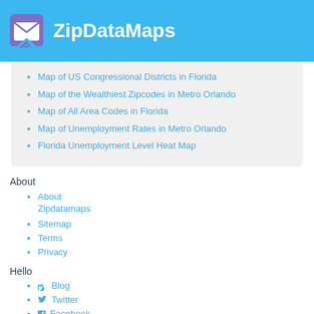ZipDataMaps
Map of US Congressional Districts in Florida
Map of the Wealthiest Zipcodes in Metro Orlando
Map of All Area Codes in Florida
Map of Unemployment Rates in Metro Orlando
Florida Unemployment Level Heat Map
About
About Zipdatamaps
Sitemap
Terms
Privacy
Hello
Blog
Twitter
Facebook
E-mail